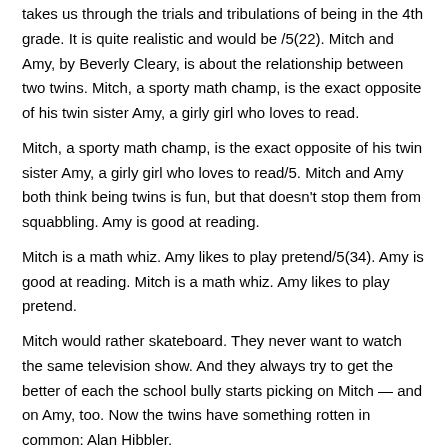takes us through the trials and tribulations of being in the 4th grade. It is quite realistic and would be /5(22). Mitch and Amy, by Beverly Cleary, is about the relationship between two twins. Mitch, a sporty math champ, is the exact opposite of his twin sister Amy, a girly girl who loves to read.
Mitch, a sporty math champ, is the exact opposite of his twin sister Amy, a girly girl who loves to read/5. Mitch and Amy both think being twins is fun, but that doesn't stop them from squabbling. Amy is good at reading.
Mitch is a math whiz. Amy likes to play pretend/5(34). Amy is good at reading. Mitch is a math whiz. Amy likes to play pretend.
Mitch would rather skateboard. They never want to watch the same television show. And they always try to get the better of each the school bully starts picking on Mitch — and on Amy, too. Now the twins have something rotten in common: Alan Hibbler.
Mitch and Amy by Beverly Cleary, Illustrated by George Porter and a great selection of related books, art and collectibles available now at